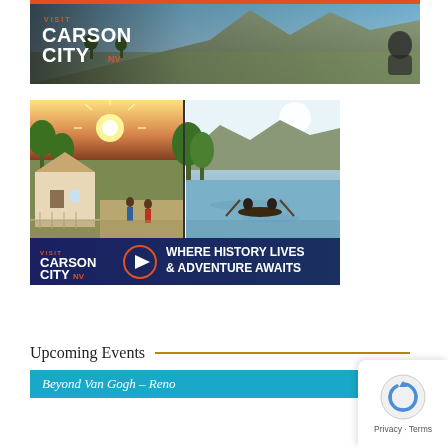[Figure (photo): Carson City banner ad with aerial landscape view of the city and mountains, a person sitting on rocks at right side. White text reads 'CARSON CITY' on dark overlay at top left.]
[Figure (photo): Visit Carson City advertisement showing two outdoor photos side by side: left shows sunlit historic building with people walking, right shows two people canoeing on a river with mountains in background. Dark blue banner below reads 'VISIT CARSON CITY NV' with play button icon and 'WHERE HISTORY LIVES & ADVENTURE AWAITS' in bold white text.]
Upcoming Events
Beyond Van Gogh – Reno